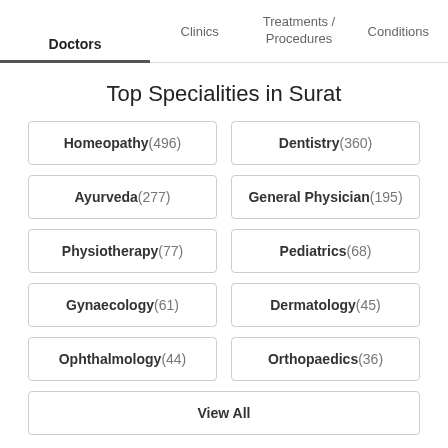Doctors | Clinics | Treatments / Procedures | Conditions
Top Specialities in Surat
Homeopathy(496)
Dentistry(360)
Ayurveda(277)
General Physician(195)
Physiotherapy(77)
Pediatrics(68)
Gynaecology(61)
Dermatology(45)
Ophthalmology(44)
Orthopaedics(36)
View All